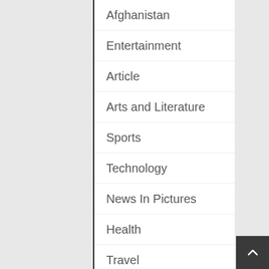Afghanistan
Entertainment
Article
Arts and Literature
Sports
Technology
News In Pictures
Health
Travel
Kids Corner
Food